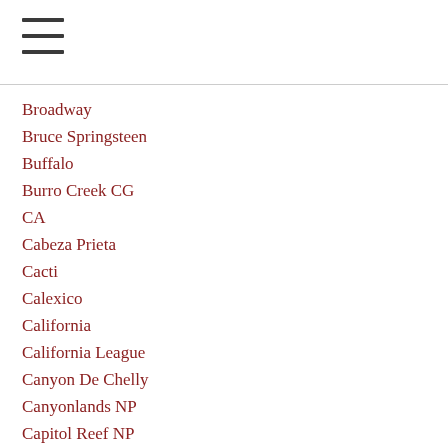≡
Broadway
Bruce Springsteen
Buffalo
Burro Creek CG
CA
Cabeza Prieta
Cacti
Calexico
California
California League
Canyon De Chelly
Canyonlands NP
Capitol Reef NP
Carl Sagan
Carrizo Plain
Cascades-mountains
Casita
Caspers-wilderness-park